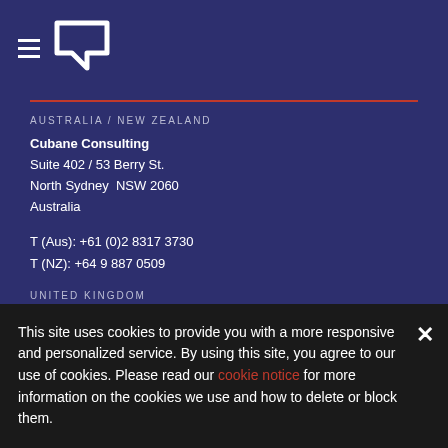[Figure (logo): Hamburger menu icon and company logo mark (white angular bracket symbol) on dark navy background]
AUSTRALIA / NEW ZEALAND
Cubane Consulting
Suite 402 / 53 Berry St.
North Sydney  NSW 2060
Australia
T (Aus): +61 (0)2 8317 3730
T (NZ): +64 9 887 0509
UNITED KINGDOM
Cubane Consulting (partial, cut off)
This site uses cookies to provide you with a more responsive and personalized service. By using this site, you agree to our use of cookies. Please read our cookie notice for more information on the cookies we use and how to delete or block them.